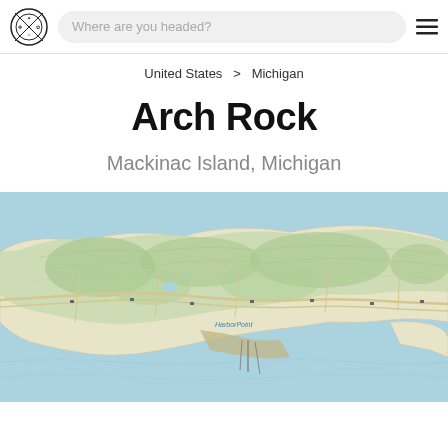Where are you headed?
United States > Michigan
Arch Rock
Mackinac Island, Michigan
[Figure (map): Topographic map of Mackinac Island, Michigan showing streets, green forested areas, and surrounding blue water (Lake Huron). A label reading 'HarborPoint' is visible near the center-bottom of the map.]